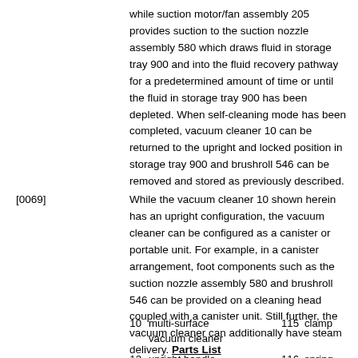while suction motor/fan assembly 205 provides suction to the suction nozzle assembly 580 which draws fluid in storage tray 900 and into the fluid recovery pathway for a predetermined amount of time or until the fluid in storage tray 900 has been depleted. When self-cleaning mode has been completed, vacuum cleaner 10 can be returned to the upright and locked position in storage tray 900 and brushroll 546 can be removed and stored as previously described.
[0069] While the vacuum cleaner 10 shown herein has an upright configuration, the vacuum cleaner can be configured as a canister or portable unit. For example, in a canister arrangement, foot components such as the suction nozzle assembly 580 and brushroll 546 can be provided on a cleaning head coupled with a canister unit. Still further, the vacuum cleaner can additionally have steam delivery. Parts List
| 10 | multi-surface vacuum cleaner | 115 | clamp |
| 12 | upright handle | 116 | spring |